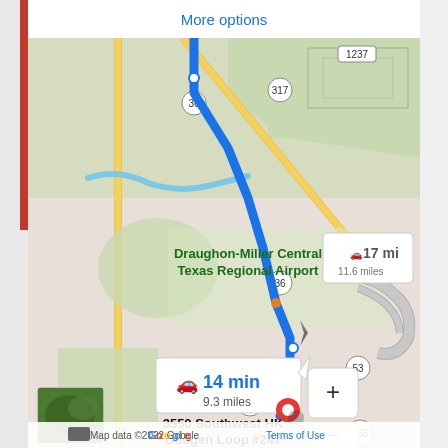More options
[Figure (map): Google Maps screenshot showing driving route along Highway 36 to 3550 Southwest HK Dodgen Loop #247, near Draughon-Miller Central Texas Regional Airport. Blue route line shown. Distance options: 14 min / 9.3 miles (selected) and 17 min / 11.6 miles (alternate). Destination marked with red pin at 3550 Southwest HK Dodgen Loop #247 near route marker 363.]
Draughon-Miller Central Texas Regional Airport
14 min
9.3 miles
17 mi
11.6 miles
3550 Southwest HK
Dodgen Loop #247
Map data ©2022 Google   Terms of Use